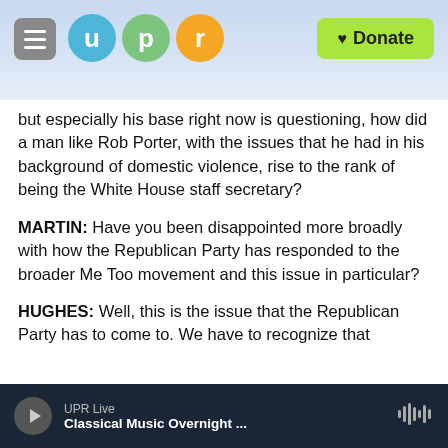[Figure (screenshot): UPR website header with hamburger menu, UPR logo circles (u, p, r in blue, green, orange), and green Donate button]
but especially his base right now is questioning, how did a man like Rob Porter, with the issues that he had in his background of domestic violence, rise to the rank of being the White House staff secretary?
MARTIN: Have you been disappointed more broadly with how the Republican Party has responded to the broader Me Too movement and this issue in particular?
HUGHES: Well, this is the issue that the Republican Party has to come to. We have to recognize that
UPR Live Classical Music Overnight ...